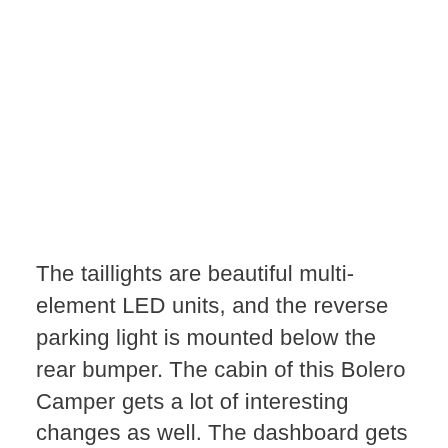The taillights are beautiful multi-element LED units, and the reverse parking light is mounted below the rear bumper. The cabin of this Bolero Camper gets a lot of interesting changes as well. The dashboard gets custom leather on all surfaces, with wood inserts around the AC vents. An aftermarket infotainment system has also been added to the vehicle.